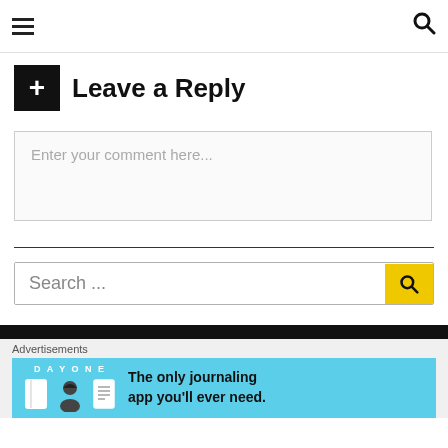☰  🔍
Leave a Reply
Enter your comment here...
Search ...
Advertisements
[Figure (screenshot): DAY ONE - The only journaling app you'll ever need. Advertisement banner with blue background and app icons.]